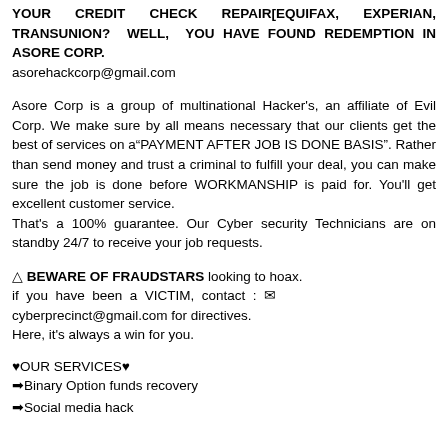YOUR CREDIT CHECK REPAIR[EQUIFAX, EXPERIAN, TRANSUNION? WELL, YOU HAVE FOUND REDEMPTION IN ASORE CORP.
asorehackcorp@gmail.com
Asore Corp is a group of multinational Hacker's, an affiliate of Evil Corp. We make sure by all means necessary that our clients get the best of services on a“PAYMENT AFTER JOB IS DONE BASIS”. Rather than send money and trust a criminal to fulfill your deal, you can make sure the job is done before WORKMANSHIP is paid for. You'll get excellent customer service.
That's a 100% guarantee. Our Cyber security Technicians are on standby 24/7 to receive your job requests.
⚠ BEWARE OF FRAUDSTARS looking to hoax.
if you have been a VICTIM, contact : ✉ cyberprecinct@gmail.com for directives.
Here, it's always a win for you.
♥OUR SERVICES♥
➡Binary Option funds recovery
➡Social media hack